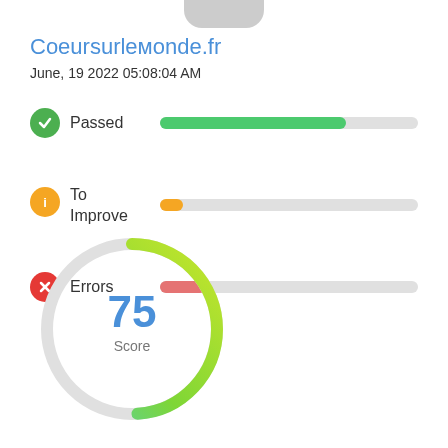[Figure (other): Gray rounded bar at top, representing a device or browser chrome element]
Coeursurlемonde.fr
June, 19 2022 05:08:04 AM
[Figure (infographic): Passed status with green checkmark icon and green progress bar (~72% filled)]
[Figure (infographic): To Improve status with orange info icon and short orange progress bar (~9% filled)]
[Figure (infographic): Errors status with red X icon and medium red progress bar (~18% filled)]
[Figure (donut-chart): Score gauge circle showing 75 with gradient arc from teal/green to yellow-green]